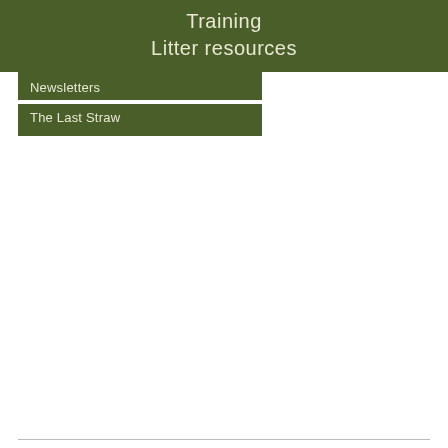Training
Litter resources
Newsletters
The Last Straw